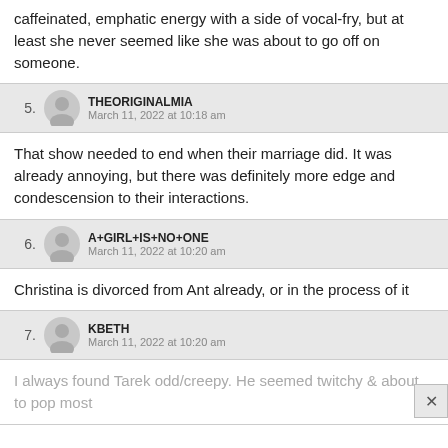caffeinated, emphatic energy with a side of vocal-fry, but at least she never seemed like she was about to go off on someone.
5. THEORIGINALMIA — March 11, 2022 at 10:18 am
That show needed to end when their marriage did. It was already annoying, but there was definitely more edge and condescension to their interactions.
6. A+GIRL+IS+NO+ONE — March 11, 2022 at 10:20 am
Christina is divorced from Ant already, or in the process of it
7. KBETH — March 11, 2022 at 10:20 am
I always found Tarek odd/creepy. He seemed twitchy & about to pop most